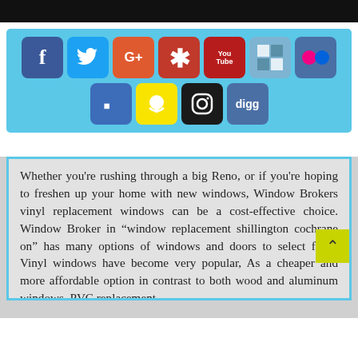[Figure (infographic): Social media icon buttons panel with icons for Facebook, Twitter, Google+, Yelp, YouTube, WordPress/checkerboard, Flickr, Foursquare, Snapchat, Instagram, and Digg on a light blue background]
Whether you're rushing through a big Reno, or if you're hoping to freshen up your home with new windows, Window Brokers vinyl replacement windows can be a cost-effective choice. Window Broker in “window replacement shillington cochrane on” has many options of windows and doors to select from. Vinyl windows have become very popular, As a cheaper and more affordable option in contrast to both wood and aluminum windows, PVC replacement